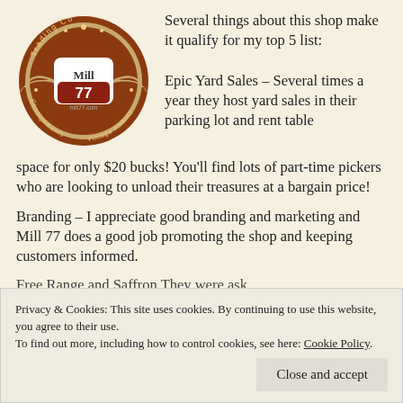[Figure (logo): Mill 77 Trading Co. circular logo with wings, brown and white colors, text 'Consignments Vintage Ambury' around the circle, mill77.com website at bottom]
Several things about this shop make it qualify for my top 5 list:
Epic Yard Sales – Several times a year they host yard sales in their parking lot and rent table space for only $20 bucks! You'll find lots of part-time pickers who are looking to unload their treasures at a bargain price!
Branding – I appreciate good branding and marketing and Mill 77 does a good job promoting the shop and keeping customers informed.
treasures? Share them with you of course at Lizzie Tish
Privacy & Cookies: This site uses cookies. By continuing to use this website, you agree to their use.
To find out more, including how to control cookies, see here: Cookie Policy
Close and accept